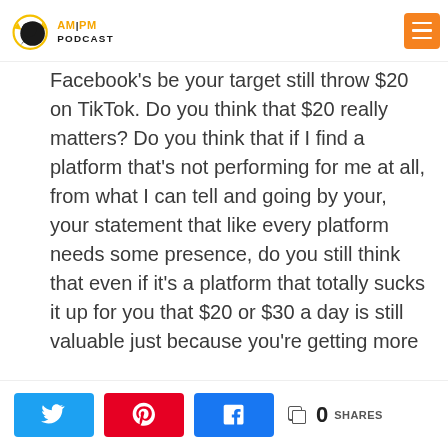AM PM PODCAST
Facebook's be your target still throw $20 on TikTok. Do you think that $20 really matters? Do you think that if I find a platform that's not performing for me at all, from what I can tell and going by your, your statement that like every platform needs some presence, do you still think that even if it's a platform that totally sucks it up for you that $20 or $30 a day is still valuable just because you're getting more exposure globally.
0 SHARES